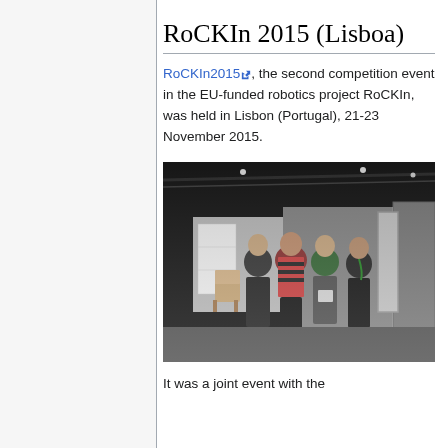RoCKIn 2015 (Lisboa)
RoCKIn2015, the second competition event in the EU-funded robotics project RoCKIn, was held in Lisbon (Portugal), 21-23 November 2015.
[Figure (photo): Group photo of four people standing inside an indoor robotics competition arena with modular room structures and equipment in the background.]
It was a joint event with the